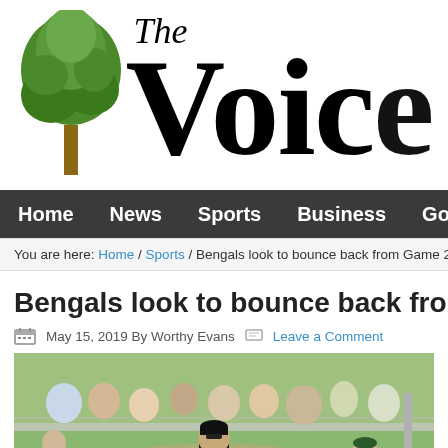[Figure (logo): The Voice newspaper masthead with green tree illustration and large serif 'The Voice' text]
Home  News  Sports  Business  Government
You are here: Home / Sports / Bengals look to bounce back from Game 2 lo
Bengals look to bounce back from Gam
May 15, 2019 By Worthy Evans  Leave a Comment
[Figure (photo): Baseball game photo showing players and a coach in black near a chain-link fence with spectators in the background]